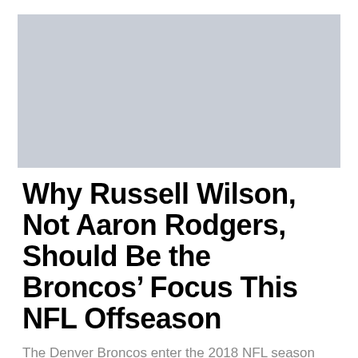[Figure (photo): Gray placeholder image for article header photo]
Why Russell Wilson, Not Aaron Rodgers, Should Be the Broncos’ Focus This NFL Offseason
The Denver Broncos enter the 2018 NFL season with a great opportunity…
Steve Wright · January 23, 2022 · 4 minute read